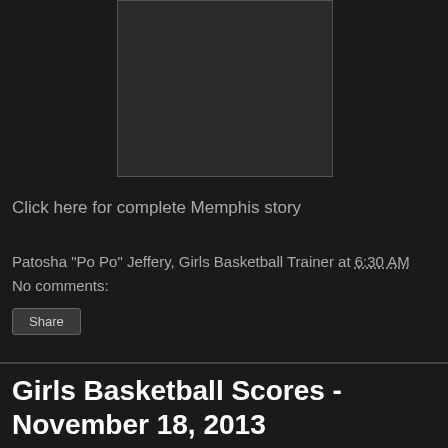[Figure (photo): Dark rectangular image placeholder with border]
Click here for complete Memphis story
Patosha "Po Po" Jeffery, Girls Basketball Trainer at 6:30 AM
No comments:
Share
Girls Basketball Scores - November 18, 2013